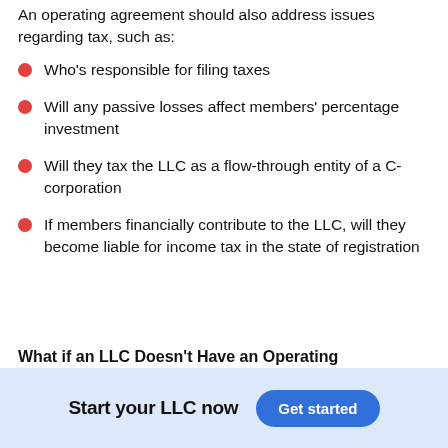An operating agreement should also address issues regarding tax, such as:
Who's responsible for filing taxes
Will any passive losses affect members' percentage investment
Will they tax the LLC as a flow-through entity of a C-corporation
If members financially contribute to the LLC, will they become liable for income tax in the state of registration
What if an LLC Doesn't Have an Operating
Start your LLC now
Get started